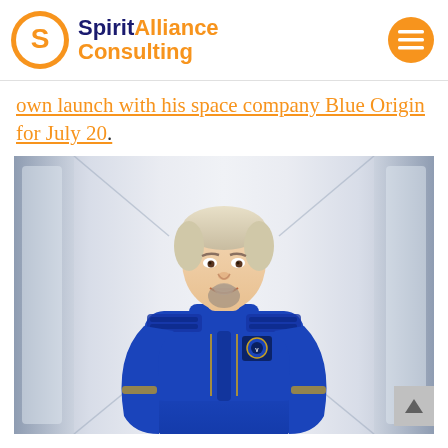Spirit Alliance Consulting
own launch with his space company Blue Origin for July 20.
[Figure (photo): Man with grey-blonde hair and goatee wearing a blue space suit, smiling, standing in a corridor with light panels on the sides.]